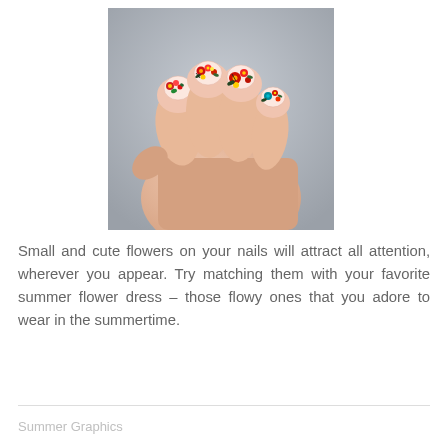[Figure (photo): Close-up photo of a hand with short nails decorated with small colorful floral nail art designs on a gray background]
Small and cute flowers on your nails will attract all attention, wherever you appear. Try matching them with your favorite summer flower dress – those flowy ones that you adore to wear in the summertime.
Summer Graphics